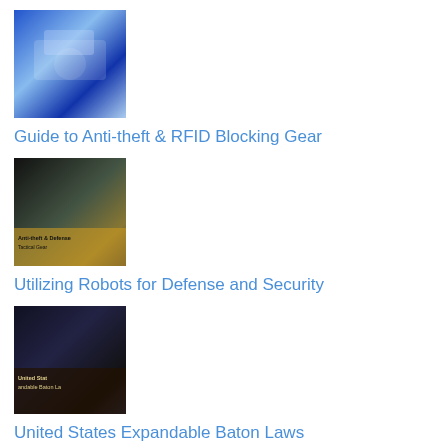[Figure (photo): Thumbnail image related to anti-theft and RFID blocking gear, showing blue tones with a vehicle or device]
Guide to Anti-theft & RFID Blocking Gear
[Figure (photo): Thumbnail image showing figures in tactical/security gear with text overlay about anti-theft gear]
Utilizing Robots for Defense and Security
[Figure (photo): Thumbnail image showing police or security personnel with text 'United States Expandable Baton Laws']
United States Expandable Baton Laws
[Figure (photo): Thumbnail image showing a metallic bolt or safe installation hardware with text overlay]
Safe Installation – How to Bolt Down A Safe
[Figure (photo): Thumbnail image showing a security camera or device with red text overlay]